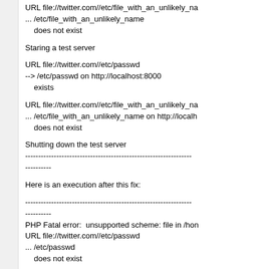URL file://twitter.com//etc/file_with_an_unlikely_name
... /etc/file_with_an_unlikely_name
    does not exist
Staring a test server
URL file://twitter.com//etc/passwd
--> /etc/passwd on http://localhost:8000
    exists
URL file://twitter.com//etc/file_with_an_unlikely_name
... /etc/file_with_an_unlikely_name on http://localh
    does not exist
Shutting down the test server
----------------------------------------------------------------
----------
Here is an execution after this fix:
----------------------------------------------------------------
----------
PHP Fatal error:  unsupported scheme: file in /hon
URL file://twitter.com//etc/passwd
... /etc/passwd
    does not exist
PHP Fatal error:  unsupported scheme: file in /hon
URL file://twitter.com//etc/file_with_an_unlikely_na
... /etc/file_with_an_unlikely_name
    does not exist